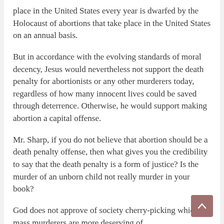place in the United States every year is dwarfed by the Holocaust of abortions that take place in the United States on an annual basis.
But in accordance with the evolving standards of moral decency, Jesus would nevertheless not support the death penalty for abortionists or any other murderers today, regardless of how many innocent lives could be saved through deterrence. Otherwise, he would support making abortion a capital offense.
Mr. Sharp, if you do not believe that abortion should be a death penalty offense, then what gives you the credibility to say that the death penalty is a form of justice? Is the murder of an unborn child not really murder in your book?
God does not approve of society cherry-picking which mass murderers are more deserving of